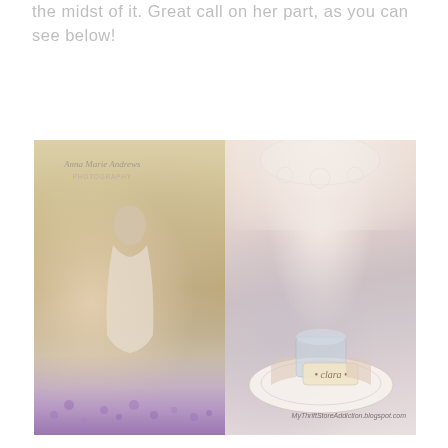the midst of it. Great call on her part, as you can see below!
[Figure (photo): Two side-by-side photographs: left shows a woman in a white lace dress standing among purple lavender flowers with a photography watermark reading 'Anna Marie Andrews PHOTOGRAPHY'; right shows a close-up of hands holding a teacup on a floral plate with a tag reading 'clara', watermarked 'MyThriftStoreAddiction.blogspot.com']